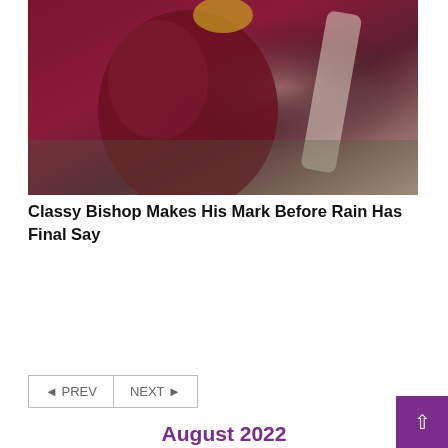[Figure (photo): Cricket players in maroon/dark red jerseys, one bowling or throwing, another batting, action shot on a cricket field]
Classy Bishop Makes His Mark Before Rain Has Final Say
◄ PREV
NEXT ►
August 2022
| S | M | T | W | T | F | S |
| --- | --- | --- | --- | --- | --- | --- |
|  | 1 | 2 | 3 | 4 | 5 | 6 |
| 7 | 8 | 9 | 10 | 11 | 12 | 13 |
| 14 | 15 | 16 | 17 | 18 | 19 | 20 |
| 21 | 22 | 23 | 24 | 25 | 26 | 27 |
| 28 | 29 | 30 | 31 |  |  |  |